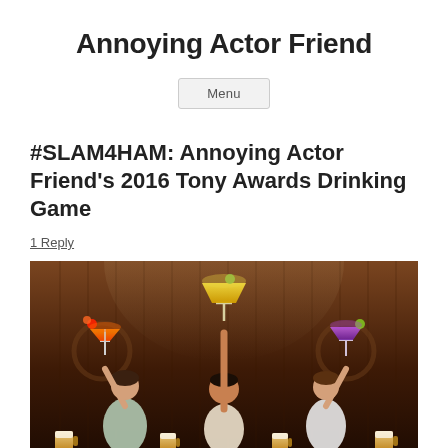Annoying Actor Friend
Menu
#SLAM4HAM: Annoying Actor Friend's 2016 Tony Awards Drinking Game
1 Reply
[Figure (photo): Three performers on stage holding colorful cocktail glasses aloft — an orange martini on the left, a yellow martini in the center, and a purple martini on the right. Beer glasses line the front of the stage. The stage set has a dark wooden backdrop with warm spotlighting.]